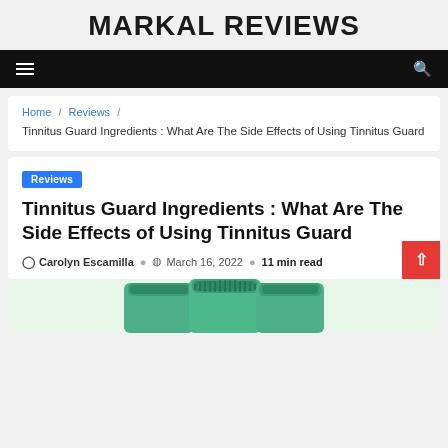MARKAL REVIEWS
Home / Reviews / Tinnitus Guard Ingredients : What Are The Side Effects of Using Tinnitus Guard
Reviews
Tinnitus Guard Ingredients : What Are The Side Effects of Using Tinnitus Guard
Carolyn Escamilla   March 16, 2022   11 min read
[Figure (photo): Green Tinnitus Guard supplement jars with teal lids, partially visible at bottom of page]